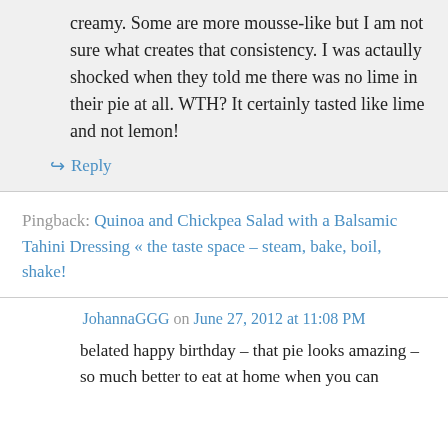creamy. Some are more mousse-like but I am not sure what creates that consistency. I was actaully shocked when they told me there was no lime in their pie at all. WTH? It certainly tasted like lime and not lemon!
↪ Reply
Pingback: Quinoa and Chickpea Salad with a Balsamic Tahini Dressing « the taste space – steam, bake, boil, shake!
JohannaGGG on June 27, 2012 at 11:08 PM
belated happy birthday – that pie looks amazing – so much better to eat at home when you can